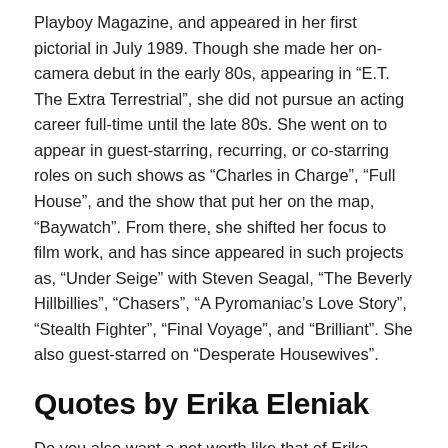Playboy Magazine, and appeared in her first pictorial in July 1989. Though she made her on-camera debut in the early 80s, appearing in “E.T. The Extra Terrestrial”, she did not pursue an acting career full-time until the late 80s. She went on to appear in guest-starring, recurring, or co-starring roles on such shows as “Charles in Charge”, “Full House”, and the show that put her on the map, “Baywatch”. From there, she shifted her focus to film work, and has since appeared in such projects as, “Under Seige” with Steven Seagal, “The Beverly Hillbillies”, “Chasers”, “A Pyromaniac’s Love Story”, “Stealth Fighter”, “Final Voyage”, and “Brilliant”. She also guest-starred on “Desperate Housewives”.
Quotes by Erika Eleniak
Do you also want a net worth like that of Erika Eleniak?